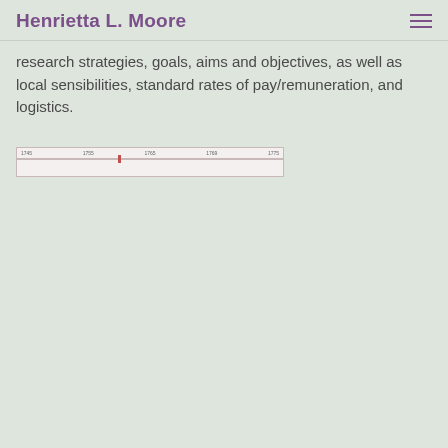Henrietta L. Moore
research strategies, goals, aims and objectives, as well as local sensibilities, standard rates of pay/remuneration, and logistics.
[Figure (other): A narrow horizontal timeline or progress bar with date labels and a small red marker, spanning years approximately 1745 to 1775.]